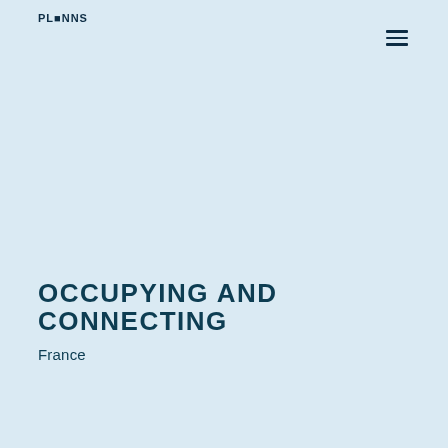PLONNS
OCCUPYING AND CONNECTING
France